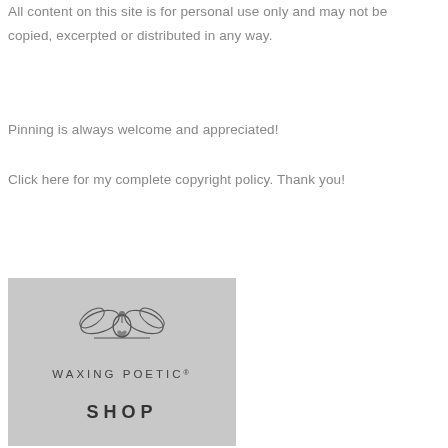All content on this site is for personal use only and may not be copied, excerpted or distributed in any way.
Pinning is always welcome and appreciated!
Click here for my complete copyright policy. Thank you!
[Figure (logo): Waxing Poetic shop logo — ornate emblem above text 'WAXING POETIC®' and 'SHOP' on a light gray background]